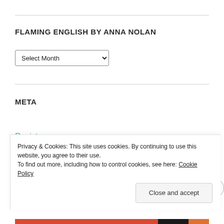FLAMING ENGLISH BY ANNA NOLAN
Select Month
META
Register
Log in
Privacy & Cookies: This site uses cookies. By continuing to use this website, you agree to their use.
To find out more, including how to control cookies, see here: Cookie Policy
Close and accept